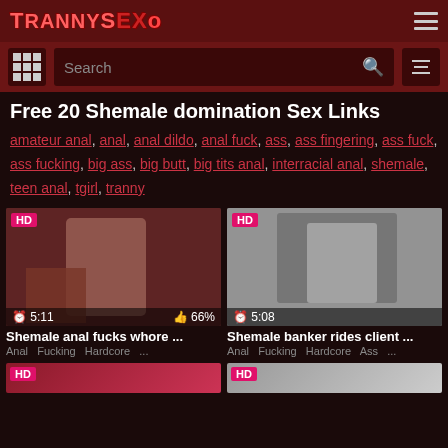TrannySEXo
Search
Free 20 Shemale domination Sex Links
amateur anal, anal, anal dildo, anal fuck, ass, ass fingering, ass fuck, ass fucking, big ass, big butt, big tits anal, interracial anal, shemale, teen anal, tgirl, tranny
[Figure (screenshot): Video thumbnail with HD badge, duration 5:11, rating 66%, titled Shemale anal fucks whore ..., categories: Anal Fucking Hardcore ...]
[Figure (screenshot): Video thumbnail with HD badge, duration 5:08, titled Shemale banker rides client ..., categories: Anal Fucking Hardcore Ass ...]
[Figure (screenshot): Video thumbnail with HD badge, partially visible at bottom]
[Figure (screenshot): Video thumbnail with HD badge, partially visible at bottom]